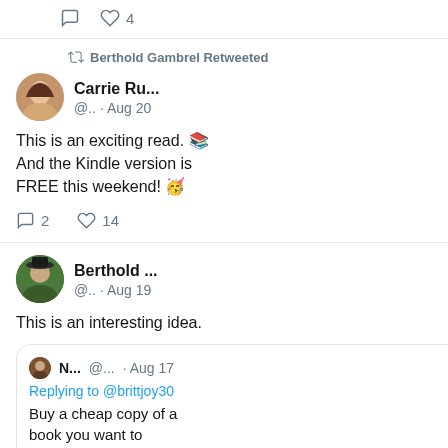[Figure (screenshot): Partial tweet showing like icon and count 4 at top]
Berthold Gambrel Retweeted
Carrie Ru... @.. · Aug 20
This is an exciting read. 📚 And the Kindle version is FREE this weekend! 🥳
2  14
Berthold ... @.. · Aug 19
This is an interesting idea.
N... @... · Aug 17 Replying to @brittjoy30 Buy a cheap copy of a book you want to emulate. Get one color